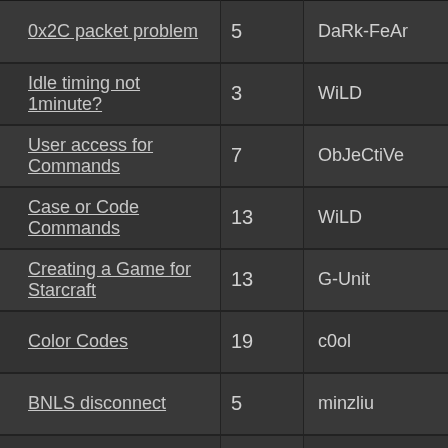| Topic | Replies | Author |
| --- | --- | --- |
| 0x2C packet problem | 5 | DaRk-FeAr |
| Idle timing not 1minute? | 3 | WiLD |
| User access for Commands | 7 | ObJeCtiVe |
| Case or Code Commands | 13 | WiLD |
| Creating a Game for Starcraft | 13 | G-Unit |
| Color Codes | 19 | c0ol |
| BNLS disconnect | 5 | minzliu |
| Channel Ban MKII | 3 | shoguy |